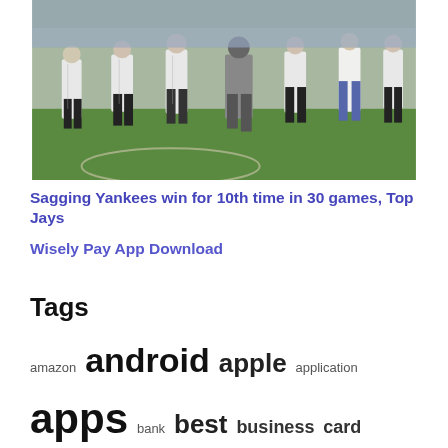[Figure (photo): Baseball players in pinstripe uniforms celebrating on a baseball field, walking and celebrating together.]
Sagging Yankees win for 10th time in 30 games, Top Jays
Wisely Pay App Download
Tags
amazon android apple application apps bank best business card cash company dating does download finance financial services free from google icons insurance iphone like mobile money music news reddit review reviews roku samsung soccer sports stock store